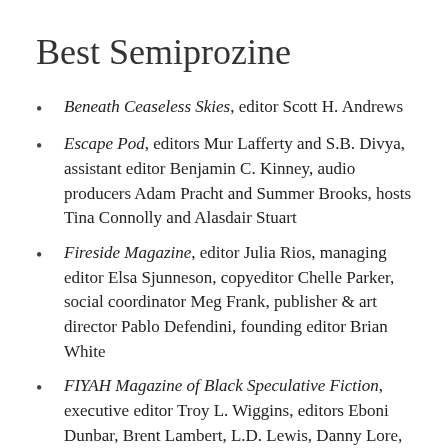Best Semiprozine
Beneath Ceaseless Skies, editor Scott H. Andrews
Escape Pod, editors Mur Lafferty and S.B. Divya, assistant editor Benjamin C. Kinney, audio producers Adam Pracht and Summer Brooks, hosts Tina Connolly and Alasdair Stuart
Fireside Magazine, editor Julia Rios, managing editor Elsa Sjunneson, copyeditor Chelle Parker, social coordinator Meg Frank, publisher & art director Pablo Defendini, founding editor Brian White
FIYAH Magazine of Black Speculative Fiction, executive editor Troy L. Wiggins, editors Eboni Dunbar, Brent Lambert, L.D. Lewis, Danny Lore, Brandon O'Brien and Kaleb Russell